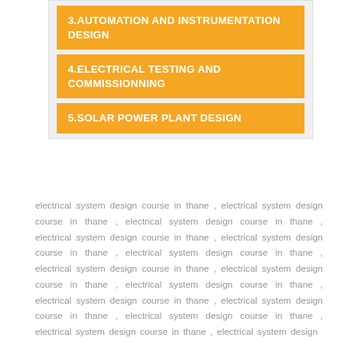3.AUTOMATION AND INSTRUMENTATION DESIGN
4.ELECTRICAL TESTING AND COMMISSIONNING
5.SOLAR POWER PLANT DESIGN
electrical system design course in thane , electrical system design course in thane , electrical system design course in thane , electrical system design course in thane , electrical system design course in thane , electrical system design course in thane , electrical system design course in thane , electrical system design course in thane , electrical system design course in thane , electrical system design course in thane , electrical system design course in thane , electrical system design course in thane , electrical system design course in thane , electrical system design